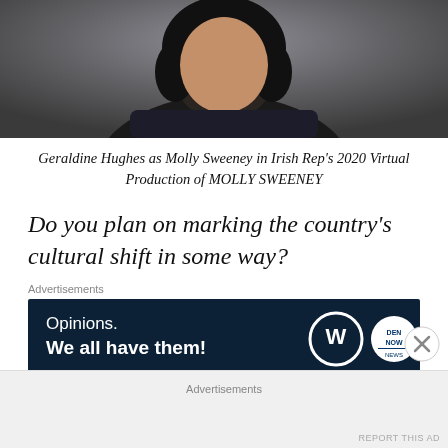[Figure (photo): Photo of Geraldine Hughes as Molly Sweeney — a woman with dark curly hair in a dark outfit, hand near her face against a grey background.]
Geraldine Hughes as Molly Sweeney in Irish Rep's 2020 Virtual Production of MOLLY SWEENEY
Do you plan on marking the country's cultural shift in some way?
Advertisements
[Figure (other): Advertisement banner: dark navy background with text 'Opinions. We all have them!' and WordPress and news logos.]
REPORT THIS AD
CO: Yes. We are looking to projects that tell
Advertisements
REPORT THIS AD